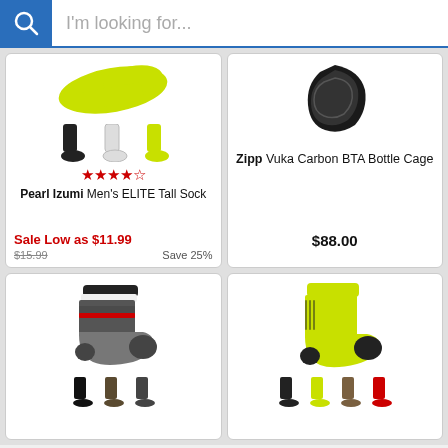[Figure (screenshot): Search bar with magnifying glass icon and placeholder text 'I'm looking for...']
[Figure (photo): Pearl Izumi Men's ELITE Tall Sock in yellow-green color, shown from above]
[Figure (photo): Three sock thumbnails: black, white, yellow-green]
Pearl Izumi Men's ELITE Tall Sock — 4/5 stars — Sale Low as $11.99 — $15.99 — Save 25%
[Figure (photo): Zipp Vuka Carbon BTA Bottle Cage in black carbon]
Zipp Vuka Carbon BTA Bottle Cage — $88.00
[Figure (photo): Castelli dark grey cycling sock with red stripe details]
[Figure (photo): Bright yellow-green tall cycling sock with black toe and heel]